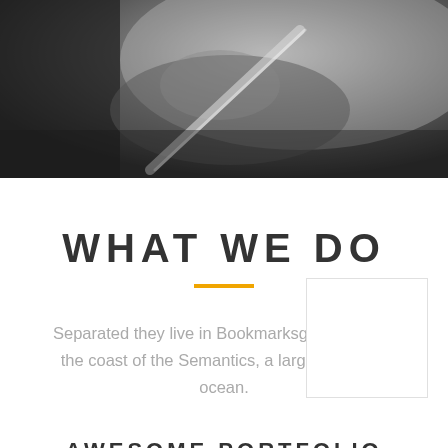[Figure (photo): Grayscale blurred close-up photo of a hand holding a pen, writing on paper]
WHAT WE DO
Separated they live in Bookmarksgrove right at the coast of the Semantics, a large language ocean.
AWESOME PORTFOLIO